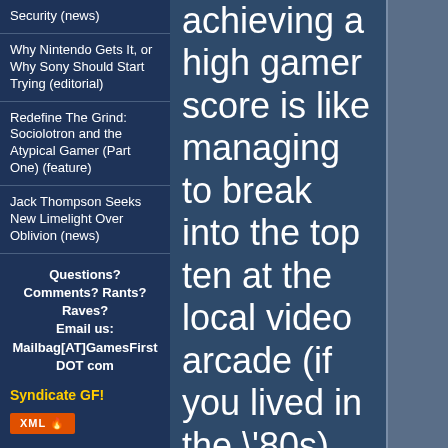Security (news)
Why Nintendo Gets It, or Why Sony Should Start Trying (editorial)
Redefine The Grind: Sociolotron and the Atypical Gamer (Part One) (feature)
Jack Thompson Seeks New Limelight Over Oblivion (news)
Questions? Comments? Rants? Raves? Email us: Mailbag[AT]GamesFirst DOT com
Syndicate GF!
[Figure (logo): XML feed badge with orange background and flame icon]
[Figure (logo): FeedBurner feed badge]
achieving a high gamer score is like managing to break into the top ten at the local video arcade (if you lived in the \'80s). In this article, we sit down with an Xbox 360 controller and a stack of games to find out the best ways to raise your gamer score with as little work as